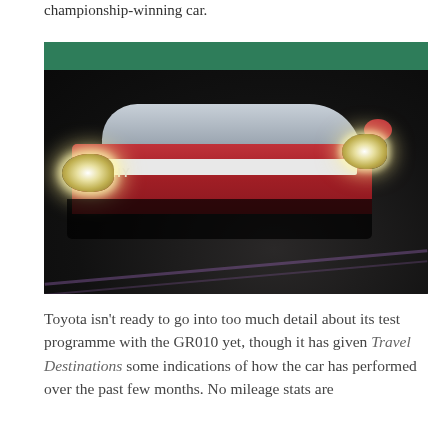championship-winning car.
[Figure (photo): A Toyota GR010 Le Mans Hypercar racing on a circuit at night or low-light conditions, with bright headlights illuminated, red and white livery, on a dark asphalt track with teal/green barrier visible in background.]
Toyota isn't ready to go into too much detail about its test programme with the GR010 yet, though it has given Travel Destinations some indications of how the car has performed over the past few months. No mileage stats are